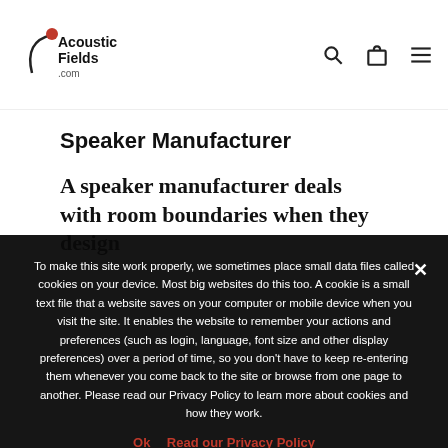Acoustic Fields .com [logo] — navigation icons: search, cart, menu
Speaker Manufacturer
A speaker manufacturer deals with room boundaries when they design
To make this site work properly, we sometimes place small data files called cookies on your device. Most big websites do this too. A cookie is a small text file that a website saves on your computer or mobile device when you visit the site. It enables the website to remember your actions and preferences (such as login, language, font size and other display preferences) over a period of time, so you don't have to keep re-entering them whenever you come back to the site or browse from one page to another. Please read our Privacy Policy to learn more about cookies and how they work.
Ok   Read our Privacy Policy